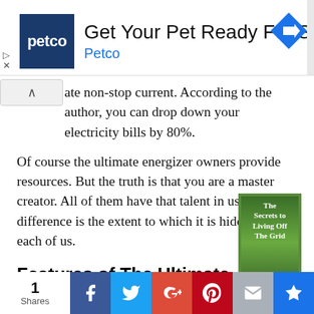[Figure (other): Petco advertisement banner: Petco logo (dark blue square with 'petco' in white), headline 'Get Your Pet Ready For Summer', brand name 'Petco' in blue, and a blue diamond arrow icon on the right.]
ate non-stop current. According to the author, you can drop down your electricity bills by 80%.
Of course the ultimate energizer owners provide resources. But the truth is that you are a master creator. All of them have that talent in us. The only difference is the extent to which it is hidden in each of us.
Features of The Ultimate Energizer
The features of the ultimate energizer guide are as follows:-. This program guide will help you to design the ultimate energizer generator which will fo...
[Figure (photo): Book cover: 'The Secrets to Living Off The Grid' with a green nature background.]
1 Shares | Facebook | Twitter | Google+ | Pinterest | Email | Bookmark